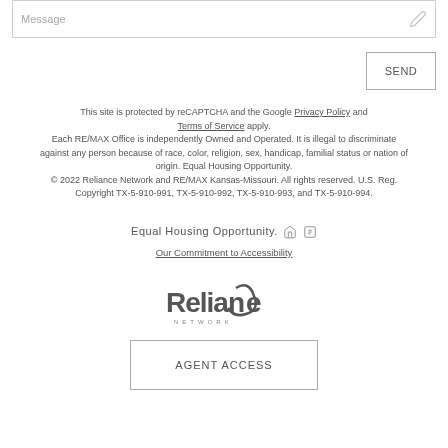[Figure (screenshot): Message input text box with placeholder text 'Message' and pencil icon on the right]
SEND
This site is protected by reCAPTCHA and the Google Privacy Policy and Terms of Service apply. Each RE/MAX Office is independently Owned and Operated. It is illegal to discriminate against any person because of race, color, religion, sex, handicap, familial status or nation of origin. Equal Housing Opportunity. © 2022 Reliance Network and RE/MAX Kansas-Missouri. All rights reserved. U.S. Reg. Copyright TX-5-910-991, TX-5-910-992, TX-5-910-993, and TX-5-910-994.
Equal Housing Opportunity.
Our Commitment to Accessibility
[Figure (logo): Reliance Network logo]
AGENT ACCESS